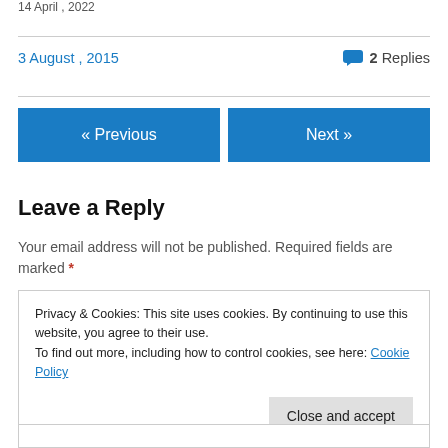14 April , 2022
3 August , 2015
2 Replies
« Previous
Next »
Leave a Reply
Your email address will not be published. Required fields are marked *
Privacy & Cookies: This site uses cookies. By continuing to use this website, you agree to their use.
To find out more, including how to control cookies, see here: Cookie Policy
Close and accept